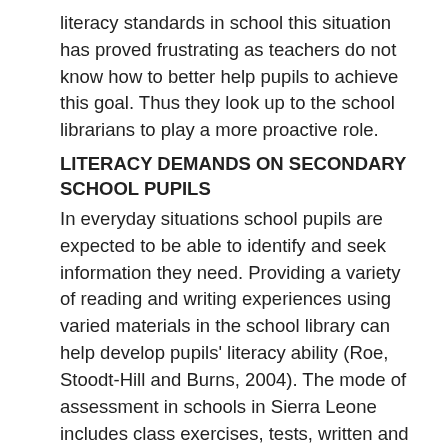literacy standards in school this situation has proved frustrating as teachers do not know how to better help pupils to achieve this goal. Thus they look up to the school librarians to play a more proactive role.
LITERACY DEMANDS ON SECONDARY SCHOOL PUPILS
In everyday situations school pupils are expected to be able to identify and seek information they need. Providing a variety of reading and writing experiences using varied materials in the school library can help develop pupils' literacy ability (Roe, Stoodt-Hill and Burns, 2004). The mode of assessment in schools in Sierra Leone includes class exercises, tests, written and practical assignments, as well as written examinations to see pupils through to their next levels. These pupils, for example, need to read content books and supplementary materials in school for homework. Pupils have even more literacy needs in their activities outside